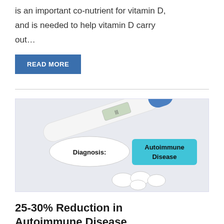is an important co-nutrient for vitamin D, and is needed to help vitamin D carry out…
READ MORE
[Figure (photo): Photo of a digital thermometer and medicine tablets on a light surface, with labels reading 'Diagnosis:' and 'Autoimmune Disease' on colored paper tags]
25-30% Reduction in Autoimmune Disease